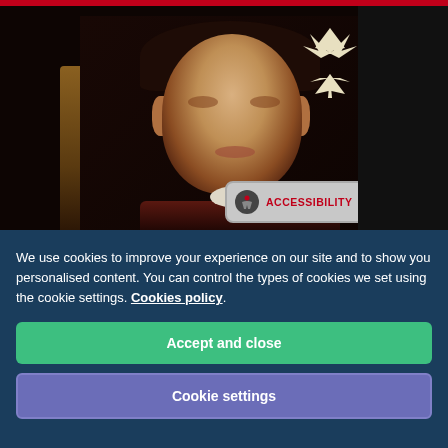[Figure (photo): A classic oil portrait painting of a young man with dark curly hair, wearing a dark coat with a white collar, set against a dark background with golden drapery. Navigation elements visible: hamburger menu icon, search icon, starburst logo, and an accessibility button overlay.]
We use cookies to improve your experience on our site and to show you personalised content. You can control the types of cookies we set using the cookie settings. Cookies policy.
Accept and close
Cookie settings